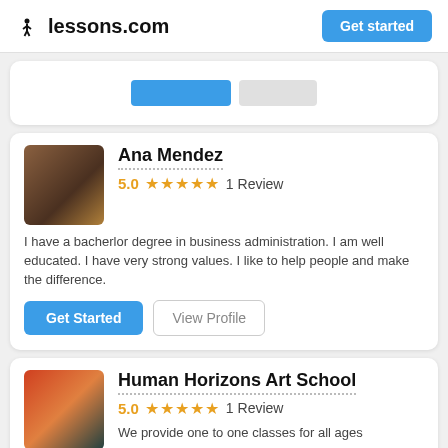lessons.com  Get started
[Figure (screenshot): Partial card with blue and grey tab buttons visible]
Ana Mendez
5.0  ★★★★★  1 Review
I have a bacherlor degree in business administration. I am well educated. I have very strong values. I like to help people and make the difference.
Get Started   View Profile
Human Horizons Art School
5.0  ★★★★★  1 Review
We provide one to one classes for all ages